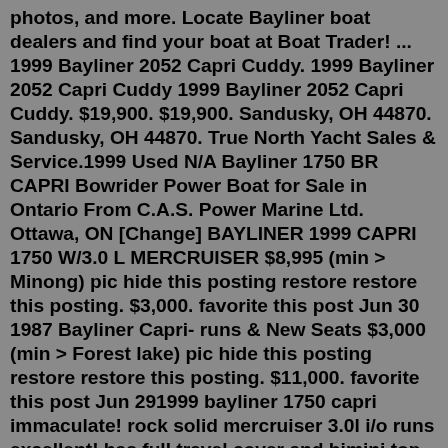photos, and more. Locate Bayliner boat dealers and find your boat at Boat Trader! ... 1999 Bayliner 2052 Capri Cuddy. 1999 Bayliner 2052 Capri Cuddy 1999 Bayliner 2052 Capri Cuddy. $19,900. $19,900. Sandusky, OH 44870. Sandusky, OH 44870. True North Yacht Sales & Service.1999 Used N/A Bayliner 1750 BR CAPRI Bowrider Power Boat for Sale in Ontario From C.A.S. Power Marine Ltd. Ottawa, ON [Change] BAYLINER 1999 CAPRI 1750 W/3.0 L MERCRUISER $8,995 (min > Minong) pic hide this posting restore restore this posting. $3,000. favorite this post Jun 30 1987 Bayliner Capri- runs & New Seats $3,000 (min > Forest lake) pic hide this posting restore restore this posting. $11,000. favorite this post Jun 291999 bayliner 1750 capri immaculate! rock solid mercruiser 3.0l i/o runs excellent! has full travel cover and bimini top. this one won't be around long! call 715-466-2272 ask for bill or todd link recreational go to linkrec.com to see more new and used boats and pontoons!Tan Partin : Hi, Follow the steering cable to the engine unscrew the large nut on the cable...